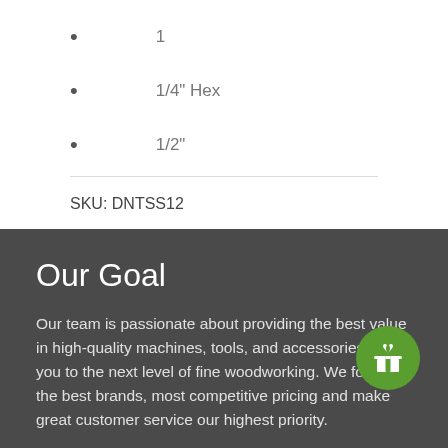1
1/4" Hex
1/2"
SKU: DNTSS12
Our Goal
Our team is passionate about providing the best value in high-quality machines, tools, and accessories to get you to the next level of fine woodworking. We focus on the best brands, most competitive pricing and make great customer service our highest priority.